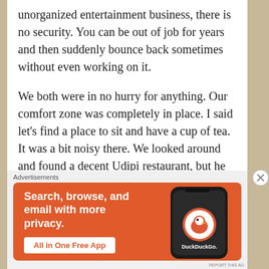unorganized entertainment business, there is no security. You can be out of job for years and then suddenly bounce back sometimes without even working on it.
We both were in no hurry for anything. Our comfort zone was completely in place. I said let’s find a place to sit and have a cup of tea. It was a bit noisy there. We looked around and found a decent Udipi restaurant, but he said, forget it; we will have a ‘cutting chai’ from the pavement. We walked some more and found a tea stall. As we
Advertisements
[Figure (infographic): DuckDuckGo advertisement banner with orange background. Left side text: 'Search, browse, and email with more privacy.' with a white button 'All in One Free App'. Right side shows a dark smartphone with DuckDuckGo logo and text.]